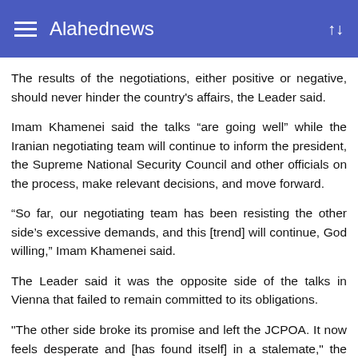Alahednews
The results of the negotiations, either positive or negative, should never hinder the country's affairs, the Leader said.
Imam Khamenei said the talks “are going well” while the Iranian negotiating team will continue to inform the president, the Supreme National Security Council and other officials on the process, make relevant decisions, and move forward.
“So far, our negotiating team has been resisting the other side’s excessive demands, and this [trend] will continue, God willing,” Imam Khamenei said.
The Leader said it was the opposite side of the talks in Vienna that failed to remain committed to its obligations.
"The other side broke its promise and left the JCPOA. It now feels desperate and [has found itself] in a stalemate," the Leader said, adding that the Islamic Republic has managed to overcome many difficulties through reliance on the people and will pass through this stage as well.